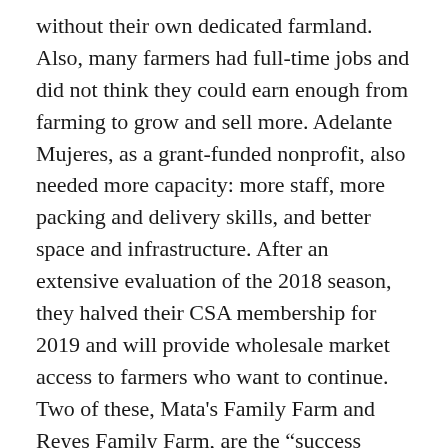without their own dedicated farmland. Also, many farmers had full-time jobs and did not think they could earn enough from farming to grow and sell more. Adelante Mujeres, as a grant-funded nonprofit, also needed more capacity: more staff, more packing and delivery skills, and better space and infrastructure. After an extensive evaluation of the 2018 season, they halved their CSA membership for 2019 and will provide wholesale market access to farmers who want to continue. Two of these, Mata's Family Farm and Reyes Family Farm, are the “success stories,” Silvia says, and one may eventually take over the distribution operation and the CSA.